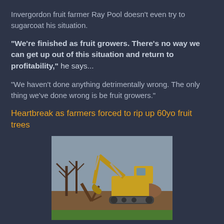Invergordon fruit farmer Ray Pool doesn't even try to sugarcoat his situation.
"We're finished as fruit growers. There's no way we can get up out of this situation and return to profitability," he says...
"We haven't done anything detrimentally wrong. The only thing we've done wrong is be fruit growers."
Heartbreak as farmers forced to rip up 60yo fruit trees
[Figure (photo): A yellow excavator/digger uprooting old fruit trees in an orchard. The machine has a long arm and tracks, surrounded by bare trees and red/brown earth with overcast sky in the background.]
One by one, factories are cutting back production